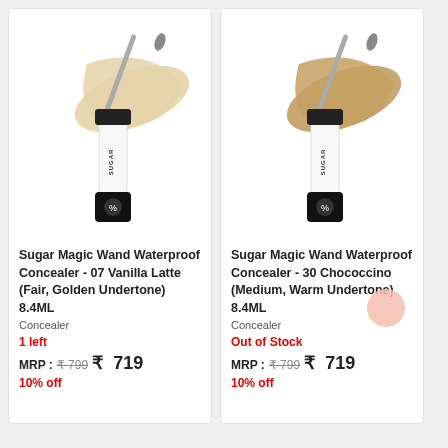[Figure (photo): Sugar Magic Wand Waterproof Concealer product image - tube with applicator brush and cream swatch, light beige/vanilla shade]
Sugar Magic Wand Waterproof Concealer - 07 Vanilla Latte (Fair, Golden Undertone) 8.4ML
Concealer
1 left
MRP : ₹799 ₹ 719
10% off
[Figure (photo): Sugar Magic Wand Waterproof Concealer product image - tube with applicator brush and cream swatch, medium warm/chococcino shade]
Sugar Magic Wand Waterproof Concealer - 30 Chococcino (Medium, Warm Undertone) 8.4ML
Concealer
Out of Stock
MRP : ₹799 ₹ 719
10% off